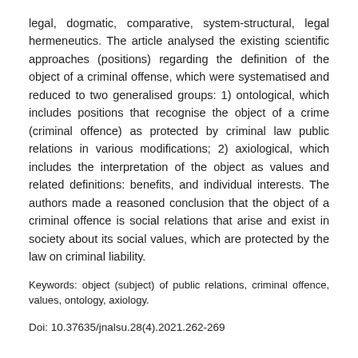legal, dogmatic, comparative, system-structural, legal hermeneutics. The article analysed the existing scientific approaches (positions) regarding the definition of the object of a criminal offense, which were systematised and reduced to two generalised groups: 1) ontological, which includes positions that recognise the object of a crime (criminal offence) as protected by criminal law public relations in various modifications; 2) axiological, which includes the interpretation of the object as values and related definitions: benefits, and individual interests. The authors made a reasoned conclusion that the object of a criminal offence is social relations that arise and exist in society about its social values, which are protected by the law on criminal liability.
Keywords: object (subject) of public relations, criminal offence, values, ontology, axiology.
Doi: 10.37635/jnalsu.28(4).2021.262-269